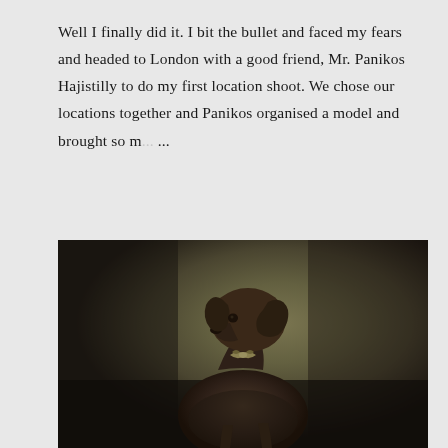Well I finally did it. I bit the bullet and faced my fears and headed to London with a good friend, Mr. Panikos Hajistilly to do my first location shoot. We chose our locations together and Panikos organised a model and brought so m... ...
SHARE
POST A COMMENT
READ MORE
[Figure (photo): A chocolate Labrador or similar dark brown dog photographed in a fine-art studio portrait style, wearing a small bow tie, looking upward and to the left, against a dark olive-brown gradient background.]